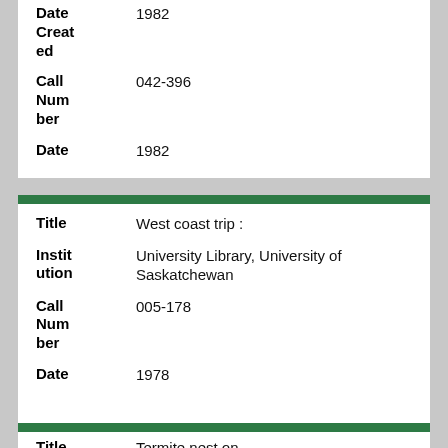| Field | Value |
| --- | --- |
| Date Created | 1982 |
| Call Number | 042-396 |
| Date | 1982 |
| Field | Value |
| --- | --- |
| Title | West coast trip : |
| Institution | University Library, University of Saskatchewan |
| Call Number | 005-178 |
| Date | 1978 |
| Field | Value |
| --- | --- |
| Title | Termite nest on |